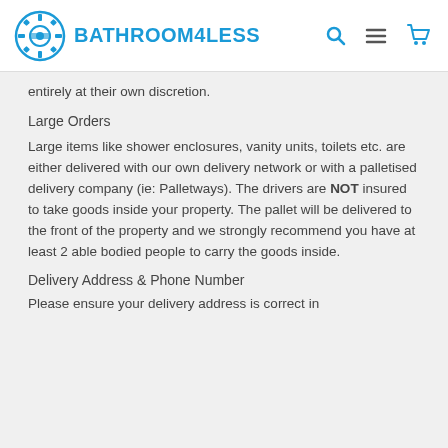BATHROOM4LESS
entirely at their own discretion.
Large Orders
Large items like shower enclosures, vanity units, toilets etc. are either delivered with our own delivery network or with a palletised delivery company (ie: Palletways). The drivers are NOT insured to take goods inside your property. The pallet will be delivered to the front of the property and we strongly recommend you have at least 2 able bodied people to carry the goods inside.
Delivery Address & Phone Number
Please ensure your delivery address is correct in